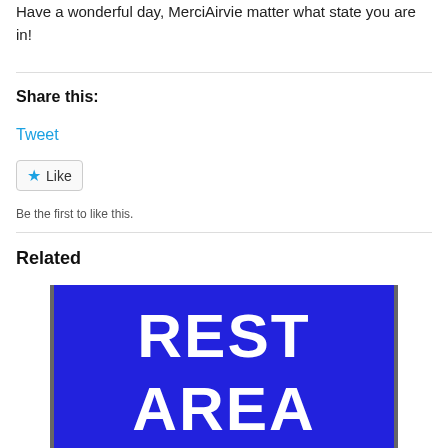Have a wonderful day, MerciAirvie matter what state you are in!
Share this:
Tweet
[Figure (screenshot): A Like button widget with a blue star icon and the word Like]
Be the first to like this.
Related
[Figure (photo): A blue highway REST AREA sign with white text and a small icon at the bottom]